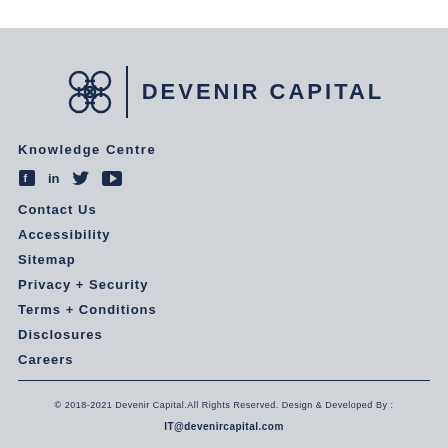[Figure (logo): Devenir Capital logo with ornamental knot symbol and company name text]
Knowledge Centre
[Figure (infographic): Social media icons: Facebook, LinkedIn, Twitter, YouTube]
Contact Us
Accessibility
Sitemap
Privacy + Security
Terms + Conditions
Disclosures
Careers
© 2018-2021 Devenir Capital.All Rights Reserved. Design & Developed By :
IT@devenircapital.com